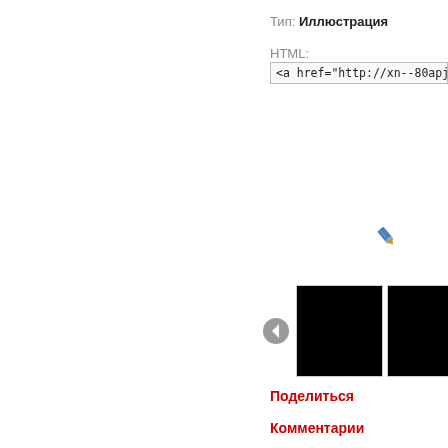Тип: Иллюстрация
HTML:
<a href="http://xn--80apjaqkcejc5...
[Figure (illustration): Pencil/edit icon (small blue pencil icon)]
[Figure (other): Left navigation arrow (grey triangle pointing left) and two black thumbnail image placeholders, partially visible third thumbnail]
Поделиться
Комментарии